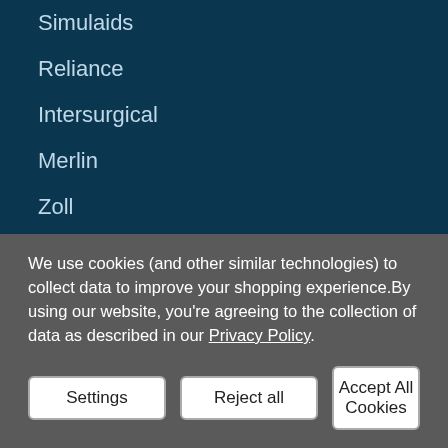Simulaids
Reliance
Intersurgical
Merlin
Zoll
View All
MY ACCOUNT
Orders
Messages
We use cookies (and other similar technologies) to collect data to improve your shopping experience.By using our website, you're agreeing to the collection of data as described in our Privacy Policy.